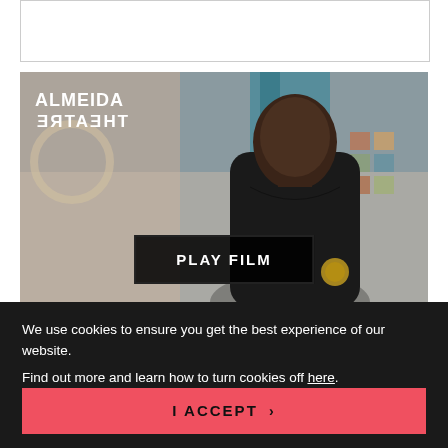[Figure (screenshot): White bordered box area at the top of the page, partially visible content area]
[Figure (photo): Almeida Theatre video thumbnail showing a young Black man in a black hoodie against a blurred studio background. Almeida Theatre logo in top left corner with mirrored text effect. Black 'PLAY FILM' button overlaid at centre bottom.]
We use cookies to ensure you get the best experience of our website.
Find out more and learn how to turn cookies off here.
I ACCEPT >